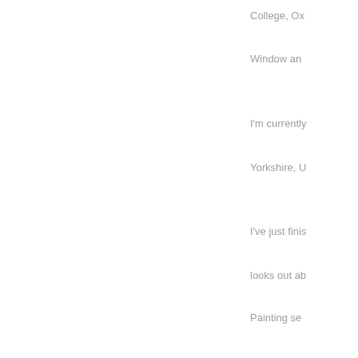College, Ox
Window an
I'm currently
Yorkshire, U
I've just finis
looks out ab
Painting se
Added 24th
Christmas B
With church
bonfire on O
Otmoor.
We gathere
another, rea
In the intens
immersed in